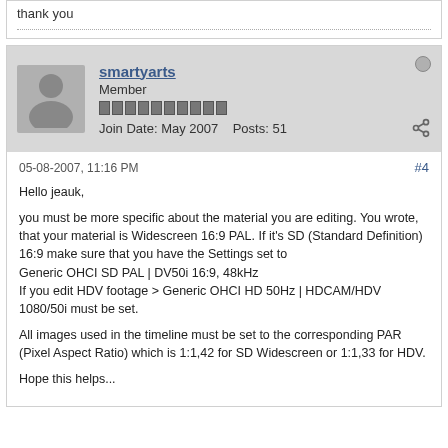thank you
smartyarts
Member
Join Date: May 2007   Posts: 51
05-08-2007, 11:16 PM
#4
Hello jeauk,

you must be more specific about the material you are editing. You wrote, that your material is Widescreen 16:9 PAL. If it's SD (Standard Definition) 16:9 make sure that you have the Settings set to
Generic OHCI SD PAL | DV50i 16:9, 48kHz
If you edit HDV footage > Generic OHCI HD 50Hz | HDCAM/HDV 1080/50i must be set.

All images used in the timeline must be set to the corresponding PAR (Pixel Aspect Ratio) which is 1:1,42 for SD Widescreen or 1:1,33 for HDV.

Hope this helps...